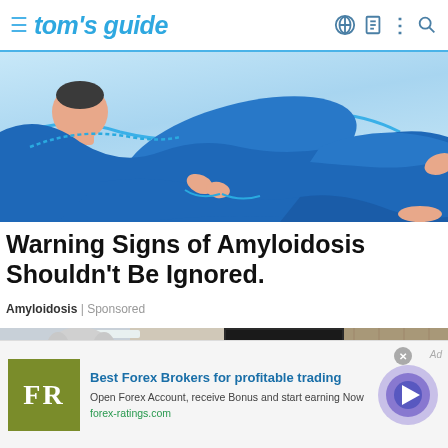tom's guide
[Figure (illustration): Illustration of a person in blue suit flying/floating horizontally with a blue cord/rope, on a light blue background — partial crop showing torso and legs]
Warning Signs of Amyloidosis Shouldn't Be Ignored.
Amyloidosis | Sponsored
[Figure (photo): Split photo strip: left half shows an elderly person with white/grey hair and glasses in a medical or office hallway; right half shows a hand signing or writing a document on a desk]
[Figure (other): Advertisement banner: FR logo in olive/green square, headline 'Best Forex Brokers for profitable trading', description 'Open Forex Account, receive Bonus and start earning Now', URL 'forex-ratings.com', blue circle arrow CTA button on right]